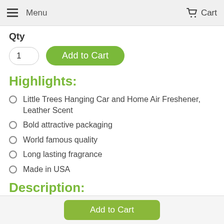Menu  Cart
Qty
1  Add to Cart
Highlights:
Little Trees Hanging Car and Home Air Freshener, Leather Scent
Bold attractive packaging
World famous quality
Long lasting fragrance
Made in USA
Description:
Add to Cart